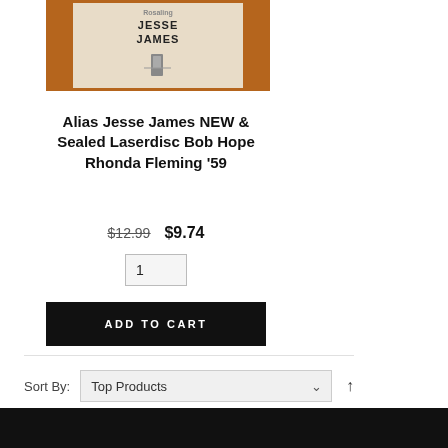[Figure (photo): Product image of Alias Jesse James Laserdisc on a wooden surface]
Alias Jesse James NEW & Sealed Laserdisc Bob Hope Rhonda Fleming '59
$12.99  $9.74
1 (quantity input)
ADD TO CART
Sort By: Top Products
[Figure (other): Black footer bar with payment icons: PayPal, Visa, Mastercard, AmEx, Discover]